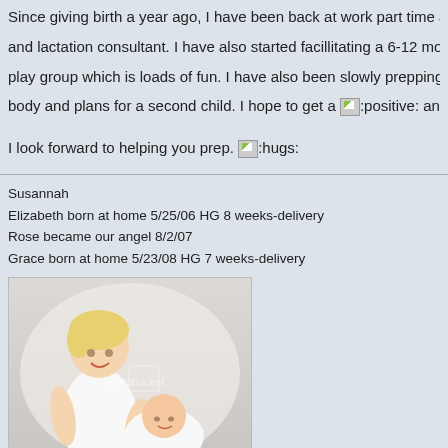Since giving birth a year ago, I have been back at work part time a and lactation consultant. I have also started facillitating a 6-12 mo play group which is loads of fun. I have also been slowly prepping body and plans for a second child. I hope to get a :positive: any
I look forward to helping you prep. :hugs:
Susannah
Elizabeth born at home 5/25/06 HG 8 weeks-delivery
Rose became our angel 8/2/07
Grace born at home 5/23/08 HG 7 weeks-delivery
[Figure (photo): Photobucket photo of a smiling blond toddler girl in a white dress standing next to a newborn baby wrapped in white.]
Image
Display posts from previous: All posts  Sort by Post time